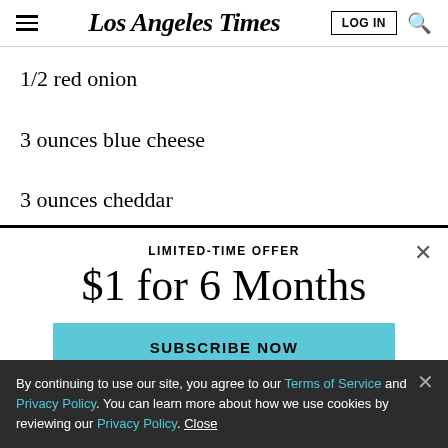Los Angeles Times
1/2 red onion
3 ounces blue cheese
3 ounces cheddar
LIMITED-TIME OFFER
$1 for 6 Months
SUBSCRIBE NOW
By continuing to use our site, you agree to our Terms of Service and Privacy Policy. You can learn more about how we use cookies by reviewing our Privacy Policy. Close